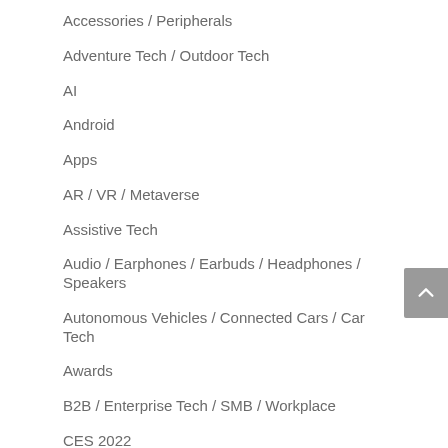Accessories / Peripherals
Adventure Tech / Outdoor Tech
AI
Android
Apps
AR / VR / Metaverse
Assistive Tech
Audio / Earphones / Earbuds / Headphones / Speakers
Autonomous Vehicles / Connected Cars / Car Tech
Awards
B2B / Enterprise Tech / SMB / Workplace
CES 2022